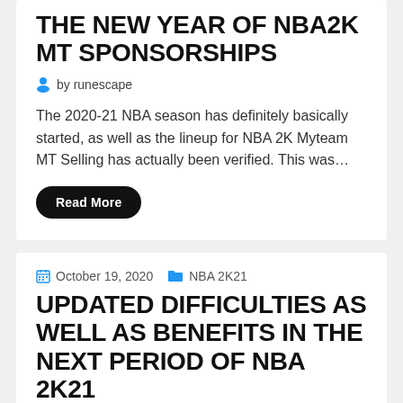THE NEW YEAR OF NBA2K MT SPONSORSHIPS
by runescape
The 2020-21 NBA season has definitely basically started, as well as the lineup for NBA 2K Myteam MT Selling has actually been verified. This was…
Read More
October 19, 2020   NBA 2K21
UPDATED DIFFICULTIES AS WELL AS BENEFITS IN THE NEXT PERIOD OF NBA 2K21